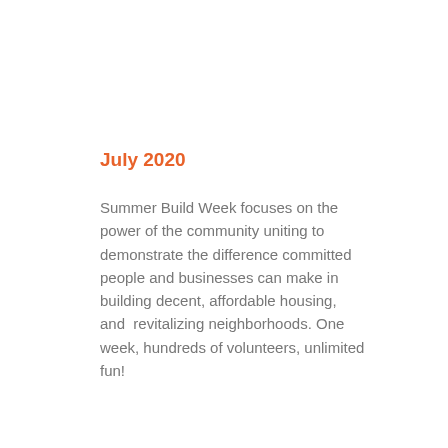July 2020
Summer Build Week focuses on the power of the community uniting to demonstrate the difference committed people and businesses can make in building decent, affordable housing, and  revitalizing neighborhoods. One week, hundreds of volunteers, unlimited fun!